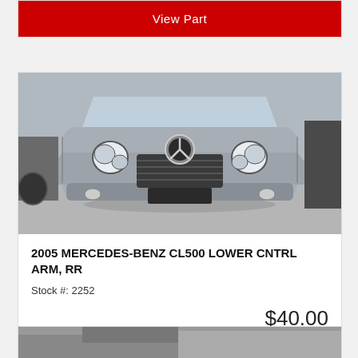[Figure (other): Red 'View Part' button at top of page (partial card)]
[Figure (photo): Front view of a silver 2005 Mercedes-Benz CL500 in a junkyard/lot setting]
2005 MERCEDES-BENZ CL500 LOWER CNTRL ARM, RR
Stock #: 2252
$40.00
[Figure (other): Red 'View Part' button]
[Figure (photo): Partial photo of another car at the bottom of the page]